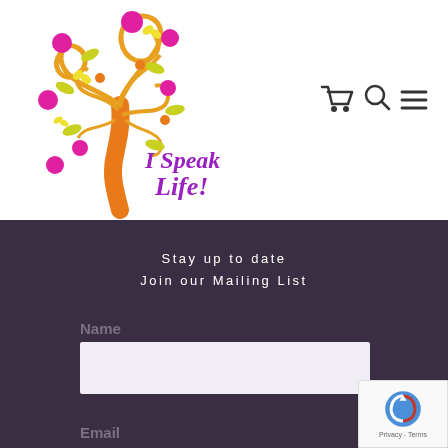[Figure (logo): I Speak Life! decorative tree logo with orange trunk, swirling branches, pink/magenta flowers and circles, yellow butterflies and leaves, with cursive purple text reading 'I Speak Life!']
[Figure (other): Navigation icons: shopping cart, search magnifier, hamburger menu — dark outlined icons on white background]
Stay up to date
Join our Mailing List
Name
Email